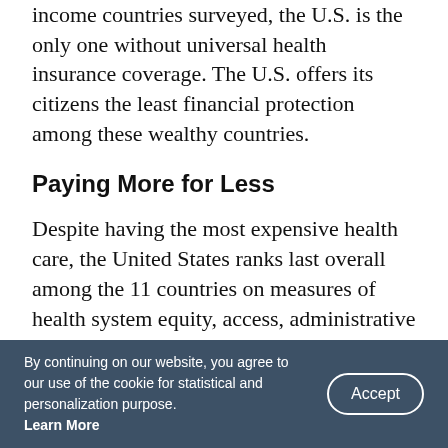income countries surveyed, the U.S. is the only one without universal health insurance coverage. The U.S. offers its citizens the least financial protection among these wealthy countries.
Paying More for Less
Despite having the most expensive health care, the United States ranks last overall among the 11 countries on measures of health system equity, access, administrative efficiency, care delivery, and health care outcomes. While there is room for improvement in every country, the U.S. has the highest costs and lowest overall performance of the nations in the study, which included Australia,
By continuing on our website, you agree to our use of the cookie for statistical and personalization purpose. Learn More